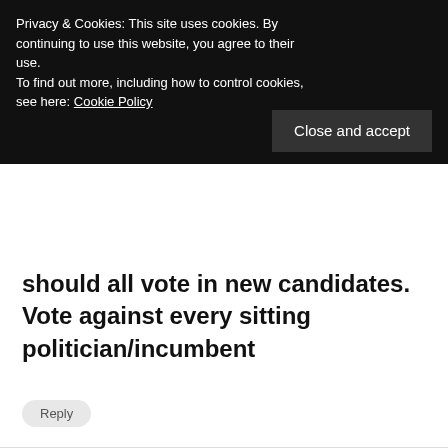Privacy & Cookies: This site uses cookies. By continuing to use this website, you agree to their use.
To find out more, including how to control cookies, see here: Cookie Policy
Close and accept
should all vote in new candidates. Vote against every sitting politician/incumbent
Reply
Chris
August 25, 2020 at 5:35 pm
Thanks for another succinct article on the state of play. Just a slight edit needed above: “but it’s not lead to banks lending”—should be “led”. The other lead should be administered to Jay Powell.
Reply